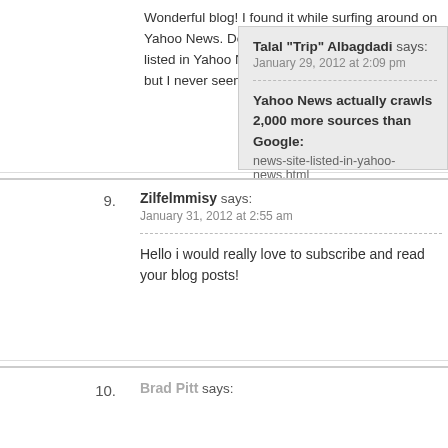Wonderful blog! I found it while surfing around on Yahoo News. Do you have any tips on how to get listed in Yahoo News? I've been trying for a while but I never seem to get there!
Talal "Trip" Albagdadi says:
January 29, 2012 at 2:09 pm
Yahoo News actually crawls 2,000 more sources than Google:
news-site-listed-in-yahoo-news.html
9. Zilfelmmisy says:
January 31, 2012 at 2:55 am
Hello i would really love to subscribe and read your blog posts!
10. Brad Pitt says: